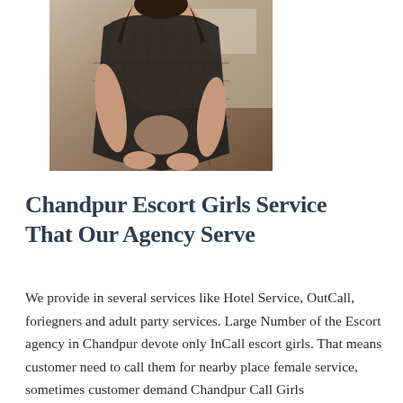[Figure (photo): A person wearing a black mesh/fishnet top, cropped to show torso and arms, with a blurred interior background.]
Chandpur Escort Girls Service That Our Agency Serve
We provide in several services like Hotel Service, OutCall, foriegners and adult party services. Large Number of the Escort agency in Chandpur devote only InCall escort girls. That means customer need to call them for nearby place female service, sometimes customer demand Chandpur Call Girls